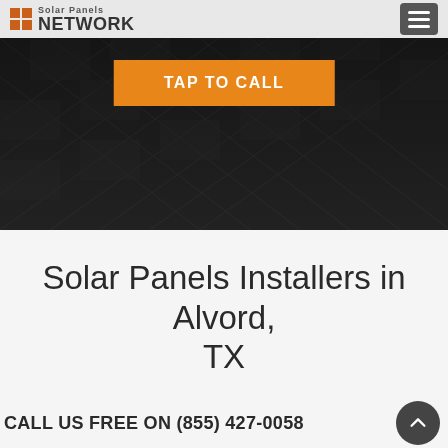Solar Panels NETWORK
[Figure (photo): Dark background photo of solar panels on a roof, seen at an angle, with diagonal grid lines of solar cells visible. Image is very dark/near black.]
TAP TO CALL
Solar Panels Installers in Alvord, TX
CALL US FREE ON (855) 427-0058